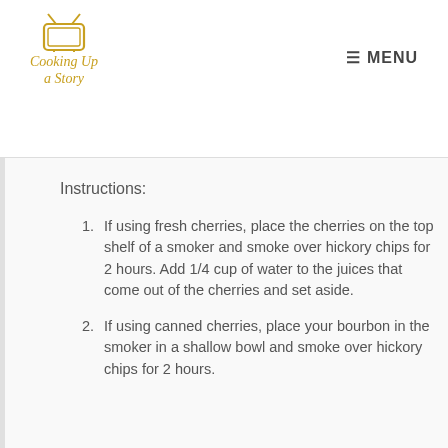Cooking Up a Story — MENU
Instructions:
If using fresh cherries, place the cherries on the top shelf of a smoker and smoke over hickory chips for 2 hours. Add 1/4 cup of water to the juices that come out of the cherries and set aside.
If using canned cherries, place your bourbon in the smoker in a shallow bowl and smoke over hickory chips for 2 hours.